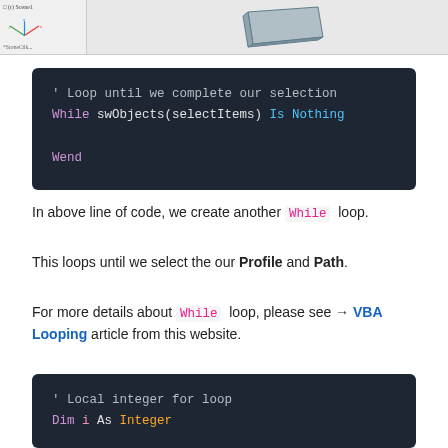[Figure (screenshot): CAD software screenshot showing a 3D rectangular block on a viewport with an axis indicator (XYZ triad) and a panel on the left side.]
' Loop until we complete our selection
While swObjects(selectItems) Is Nothing

Wend
In above line of code, we create another While loop.
This loops until we select the our Profile and Path.
For more details about While loop, please see → VBA Looping article from this website.
' Local integer for loop
Dim i As Integer